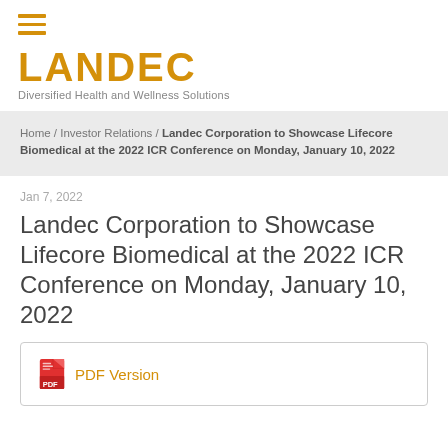[Figure (logo): Landec Corporation logo with hamburger menu icon, orange LANDEC wordmark, and tagline 'Diversified Health and Wellness Solutions']
Home / Investor Relations / Landec Corporation to Showcase Lifecore Biomedical at the 2022 ICR Conference on Monday, January 10, 2022
Jan 7, 2022
Landec Corporation to Showcase Lifecore Biomedical at the 2022 ICR Conference on Monday, January 10, 2022
PDF Version